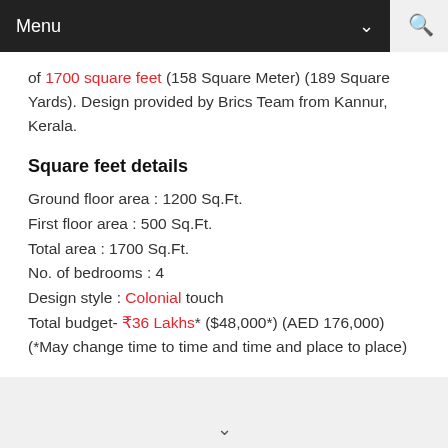Menu
of 1700 square feet (158 Square Meter) (189 Square Yards). Design provided by Brics Team from Kannur, Kerala.
Square feet details
Ground floor area : 1200 Sq.Ft.
First floor area : 500 Sq.Ft.
Total area : 1700 Sq.Ft.
No. of bedrooms : 4
Design style : Colonial touch
Total budget- ₹36 Lakhs* ($48,000*) (AED 176,000) (*May change time to time and time and place to place)